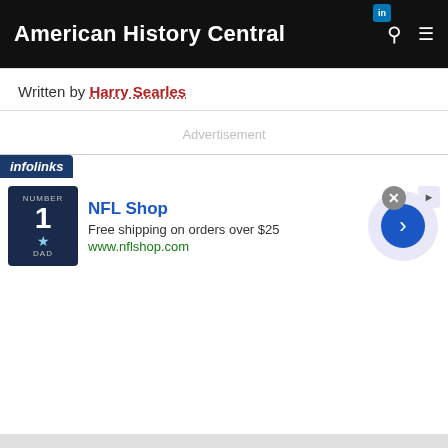American History Central
Written by Harry Searles
Advertisement
Citation Information
The following information is provided for citations.
| Field | Value |
| --- | --- |
| Article Title | Carolinas Campaign |
[Figure (other): Infolinks advertisement banner for NFL Shop showing a Dallas Cowboys jersey, NFL Shop brand name, tagline 'Free shipping on orders over $25', and website www.nflshop.com]